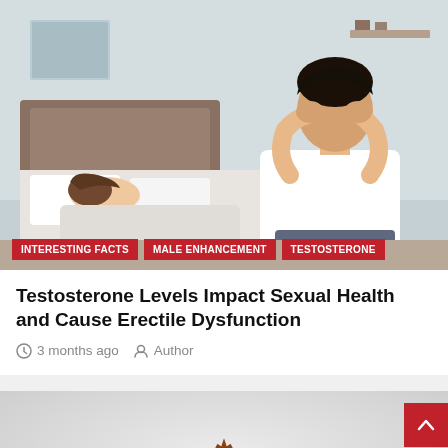[Figure (photo): Man in white shirt sitting on a bed holding his head in his hands with a woman sleeping in the background; bedroom scene]
INTERESTING FACTS | MALE ENHANCEMENT | TESTOSTERONE
Testosterone Levels Impact Sexual Health and Cause Erectile Dysfunction
3 months ago   Author
[Figure (photo): Half a pomegranate with seeds visible on a light gray background]